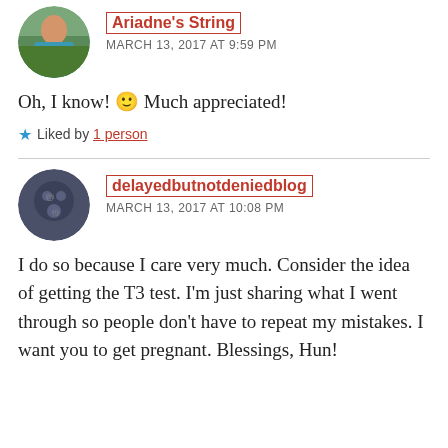[Figure (photo): Circular avatar photo of a person outdoors]
Ariadne's String
MARCH 13, 2017 AT 9:59 PM
Oh, I know! 🙂 Much appreciated!
★ Liked by 1 person
[Figure (photo): Circular dark avatar with coin/medal motif]
delayedbutnotdeniedblog
MARCH 13, 2017 AT 10:08 PM
I do so because I care very much. Consider the idea of getting the T3 test. I'm just sharing what I went through so people don't have to repeat my mistakes. I want you to get pregnant. Blessings, Hun!